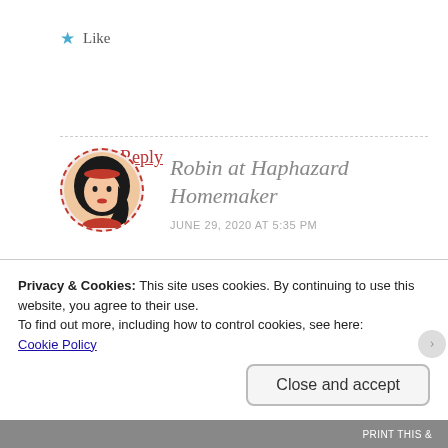★ Like
Reply
[Figure (illustration): Circular avatar with dashed red border showing an illustrated woman with black hair and red headband]
Robin at Haphazard Homemaker
JUNE 29, 2020 AT 5:35 PM
I understand what you are saying. I was speaking in general so as not to step on
Privacy & Cookies: This site uses cookies. By continuing to use this website, you agree to their use.
To find out more, including how to control cookies, see here:
Cookie Policy
Close and accept